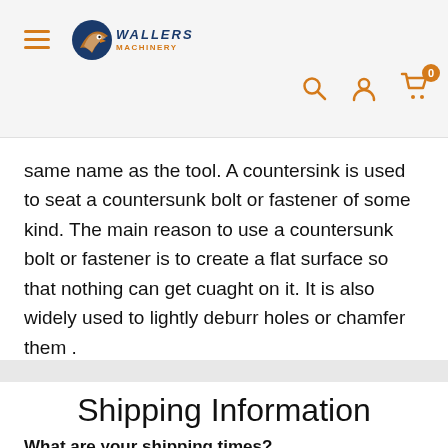Wallers — navigation header with menu, logo, search, account, cart (0)
same name as the tool. A countersink is used to seat a countersunk bolt or fastener of some kind. The main reason to use a countersunk bolt or fastener is to create a flat surface so that nothing can get cuaght on it. It is also widely used to lightly deburr holes or chamfer them .
Shipping Information
What are your shipping times?